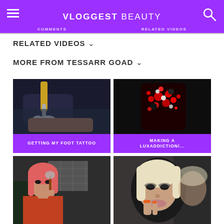VLOGGEST BEAUTY
COMMENTS   RELATED VIDEOS
RELATED VIDEOS ∨
MORE FROM TESSARR GOAD ∨
[Figure (photo): Thumbnail showing a close-up of a tattoo needle on a foot]
GETTING MY FOOT TATTOO
[Figure (photo): Thumbnail showing a blinged-out phone case with red gems]
MAKING A LUXADDICTION/...
[Figure (photo): Thumbnail of a blonde/pink-haired girl applying makeup with a brush]
[Figure (photo): Thumbnail of a blonde girl biting her nails looking at camera]